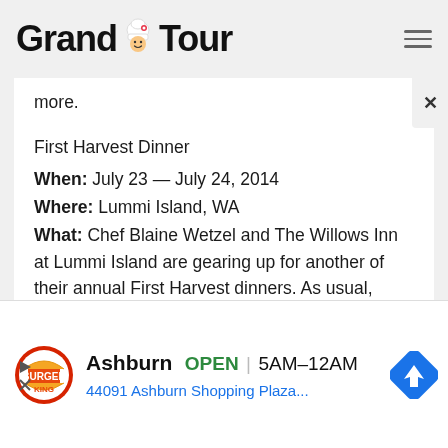Grand Tour
more.
First Harvest Dinner
When: July 23 — July 24, 2014
Where: Lummi Island, WA
What: Chef Blaine Wetzel and The Willows Inn at Lummi Island are gearing up for another of their annual First Harvest dinners. As usual, Wetzel is inviting in some pretty enormous names, starting with the world-renowned Albert Adria. Saison's Josh Skenes will also be in on the dinner.
[Figure (infographic): Burger King advertisement banner: Ashburn OPEN 5AM-12AM, 44091 Ashburn Shopping Plaza...]